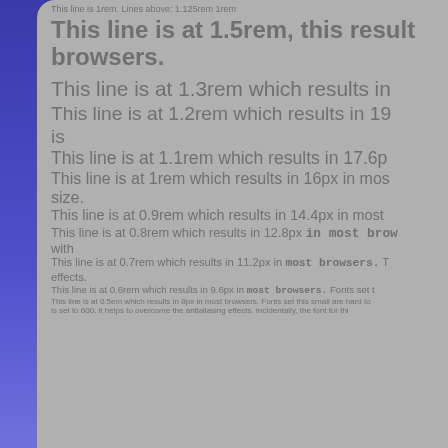This line is 1rem. Lines above: 1.125rem 1rem
This line is at 1.5rem, this result browsers.
This line is at 1.3rem which results in
This line is at 1.2rem which results in 19 is
This line is at 1.1rem which results in 17.6p
This line is at 1rem which results in 16px in mos size.
This line is at 0.9rem which results in 14.4px in most
This line is at 0.8rem which results in 12.8px in most brow with
This line is at 0.7rem which results in 11.2px in most browsers. T effects.
This line is at 0.6rem which results in 9.6px in most browsers. Fonts set t
This line is at 0.5em which results in 8px in most browsers. Fonts set this small are hard to is set to 600, it helps to overcome the antialiasing effects. Incidentally, the font for thi